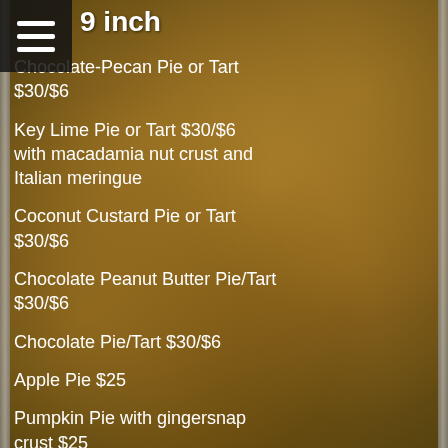9 inch
Chocolate-Pecan Pie or Tart $30/$6
Key Lime Pie or Tart $30/$6 with macadamia nut crust and Italian meringue
Coconut Custard Pie or Tart $30/$6
Chocolate Peanut Butter Pie/Tart $30/$6
Chocolate Pie/Tart $30/$6
Apple Pie $25
Pumpkin Pie with gingersnap crust $25